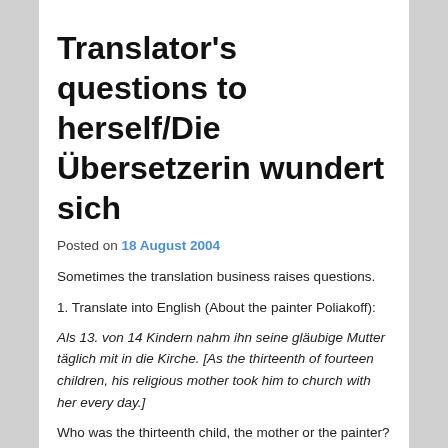Translator's questions to herself/Die Übersetzerin wundert sich
Posted on 18 August 2004
Sometimes the translation business raises questions.
1. Translate into English (About the painter Poliakoff):
Als 13. von 14 Kindern nahm ihn seine gläubige Mutter täglich mit in die Kirche. [As the thirteenth of fourteen children, his religious mother took him to church with her every day.]
Who was the thirteenth child, the mother or the painter? If it was the painter, why did she take him – was she superstitious? (Actually, the ...